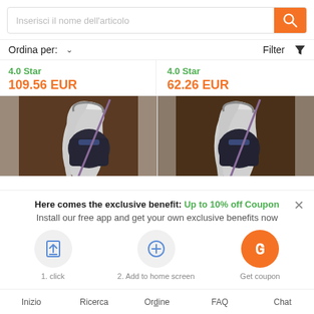[Figure (screenshot): Search bar with placeholder text 'Inserisci il nome dell'articolo' and orange search button with magnifying glass icon]
Ordina per: ∨	Filter ▼
4.0 Star
109.56 EUR	4.0 Star
62.26 EUR
[Figure (photo): Two anime figure product images side by side showing a white-haired female character in dark armor]
Here comes the exclusive benefit: Up to 10% off Coupon
Install our free app and get your own exclusive benefits now
1. click	2. Add to home screen	Get coupon
Inizio	Ricerca	Ordine	FAQ	Chat